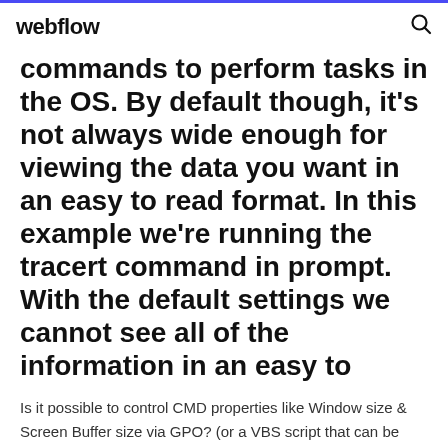webflow
commands to perform tasks in the OS. By default though, it's not always wide enough for viewing the data you want in an easy to read format. In this example we're running the tracert command in prompt. With the default settings we cannot see all of the information in an easy to
Is it possible to control CMD properties like Window size & Screen Buffer size via GPO? (or a VBS script that can be pushed using GPO :) I have Windows 7 / Windows Server 2008. Many